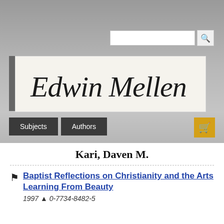[Figure (logo): Edwin Mellen Press cursive signature logo on cream/off-white background]
Subjects   Authors
Kari, Daven M.
Baptist Reflections on Christianity and the Arts Learning From Beauty
1997 ^ 0-7734-8482-5